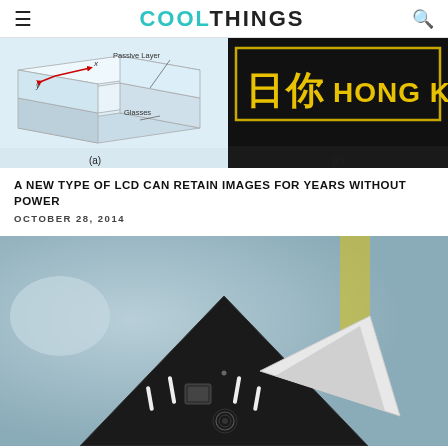COOLTHINGS
[Figure (illustration): LCD structure diagram showing passive layer, glasses, x/y axes labeled (a)]
[Figure (photo): Hong Kong sign on dark background labeled (c)]
A NEW TYPE OF LCD CAN RETAIN IMAGES FOR YEARS WITHOUT POWER
OCTOBER 28, 2014
[Figure (photo): Photo of a triangular-shaped black and white device, possibly a 3D printer or tech gadget]